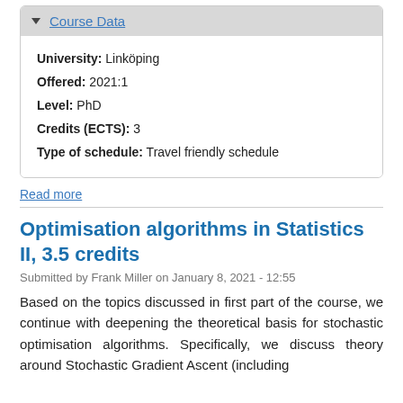| Field | Value |
| --- | --- |
| University: | Linköping |
| Offered: | 2021:1 |
| Level: | PhD |
| Credits (ECTS): | 3 |
| Type of schedule: | Travel friendly schedule |
Read more
Optimisation algorithms in Statistics II, 3.5 credits
Submitted by Frank Miller on January 8, 2021 - 12:55
Based on the topics discussed in first part of the course, we continue with deepening the theoretical basis for stochastic optimisation algorithms. Specifically, we discuss theory around Stochastic Gradient Ascent (including